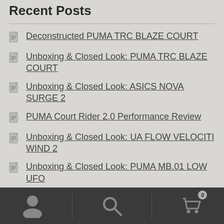Recent Posts
Deconstructed PUMA TRC BLAZE COURT
Unboxing & Closed Look: PUMA TRC BLAZE COURT
Unboxing & Closed Look: ASICS NOVA SURGE 2
PUMA Court Rider 2.0 Performance Review
Unboxing & Closed Look: UA FLOW VELOCITI WIND 2
Unboxing & Closed Look: PUMA MB.01 LOW UFO
Unboxing & Closed Look: UA CURRY 4 FLOTRO
Navigation bar with user, search, and cart (0) icons